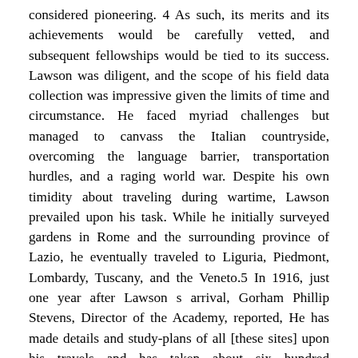considered pioneering. 4 As such, its merits and its achievements would be carefully vetted, and subsequent fellowships would be tied to its success. Lawson was diligent, and the scope of his field data collection was impressive given the limits of time and circumstance. He faced myriad challenges but managed to canvass the Italian countryside, overcoming the language barrier, transportation hurdles, and a raging world war. Despite his own timidity about traveling during wartime, Lawson prevailed upon his task. While he initially surveyed gardens in Rome and the surrounding province of Lazio, he eventually traveled to Liguria, Piedmont, Lombardy, Tuscany, and the Veneto.5 In 1916, just one year after Lawson s arrival, Gorham Phillip Stevens, Director of the Academy, reported, He has made details and study-plans of all [these sites] upon his travels and has taken about six hundred photographs of gardens and their details and catalogued the same. 6 While Lawson s documentation of villas and gardens was noteworthy, the concept of multimedia employing sketches and technical drawings along with photography had become a routine technique. He modeled his visual narrative after others who had effectively integrated various media. For documenting